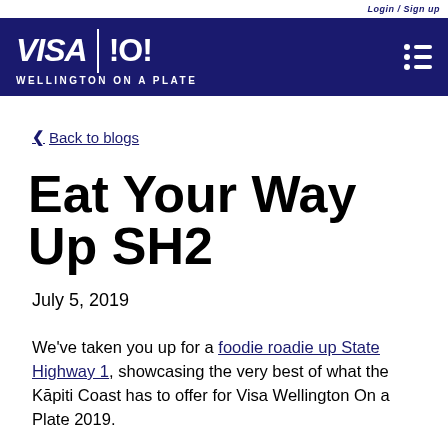Login / Sign up
[Figure (logo): VISA | !O! Wellington on a Plate logo with hamburger menu icon on dark navy background]
Back to blogs
Eat Your Way Up SH2
July 5, 2019
We've taken you up for a foodie roadie up State Highway 1, showcasing the very best of what the Kāpiti Coast has to offer for Visa Wellington On a Plate 2019.